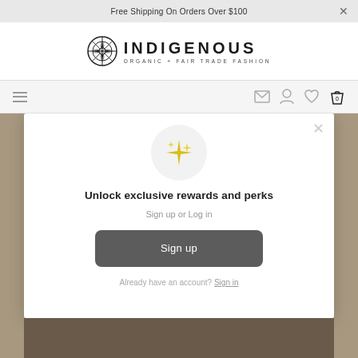Free Shipping On Orders Over $100
[Figure (logo): Indigenous Organic + Fair Trade Fashion logo with circular compass-like emblem]
[Figure (screenshot): Navigation bar with hamburger menu on left and icons (mail, user, heart, shopping bag) on right]
[Figure (screenshot): Modal popup with sparkle icon, title 'Unlock exclusive rewards and perks', Sign up or Log in text, Sign up button, and sign in link]
Unlock exclusive rewards and perks
Sign up or Log in
Sign up
Already have an account? Sign in